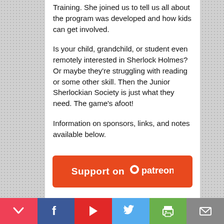Training. She joined us to tell us all about the program was developed and how kids can get involved.
Is your child, grandchild, or student even remotely interested in Sherlock Holmes? Or maybe they're struggling with reading or some other skill. Then the Junior Sherlockian Society is just what they need. The game's afoot!
Information on sponsors, links, and notes available below.
[Figure (other): Orange Patreon support button with Patreon logo and text 'Support on patreon']
Pocket | Facebook | Flipboard | Twitter | Print | Mail